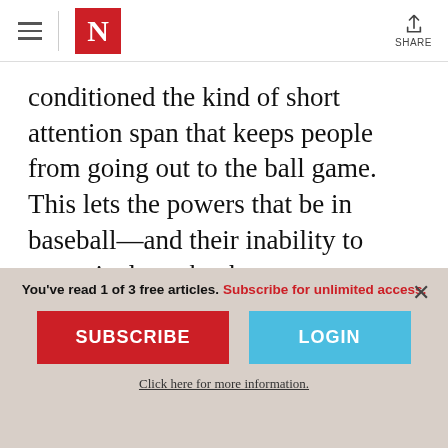The Nation — N logo — SHARE
conditioned the kind of short attention span that keeps people from going out to the ball game. This lets the powers that be in baseball—and their inability to proactively make the sport more appealing to a younger audience—off the hook.
As someone who grew up loving baseball (occasionally indulged 39 of)...
You've read 1 of 3 free articles. Subscribe for unlimited access.
SUBSCRIBE
LOGIN
Click here for more information.